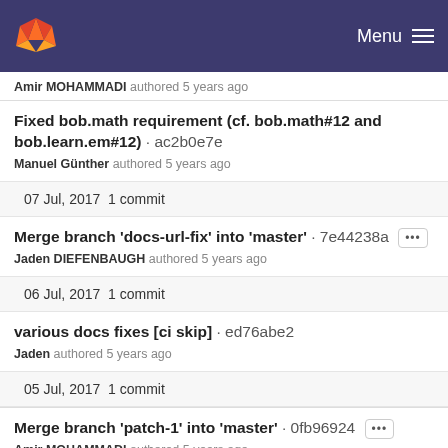Menu
Amir MOHAMMADI authored 5 years ago
Fixed bob.math requirement (cf. bob.math#12 and bob.learn.em#12) · ac2b0e7e
Manuel Günther authored 5 years ago
07 Jul, 2017 1 commit
Merge branch 'docs-url-fix' into 'master' · 7e44238a ···
Jaden DIEFENBAUGH authored 5 years ago
06 Jul, 2017 1 commit
various docs fixes [ci skip] · ed76abe2
Jaden authored 5 years ago
05 Jul, 2017 1 commit
Merge branch 'patch-1' into 'master' · 0fb96924 ···
Amir MOHAMMADI authored 5 years ago